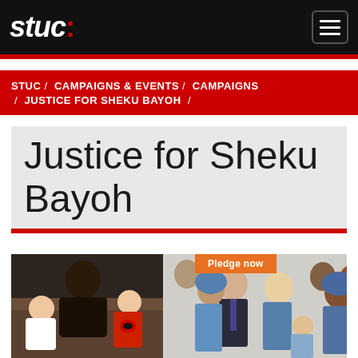stuc
STUC / CAMPAIGNS & EVENTS / CAMPAIGNS / JUSTICE FOR SHEKU BAYOH /
Justice for Sheku Bayoh
[Figure (photo): Left photo: man with two young children on a sofa. Right photo: group of people including a man in a suit and tie, women in headscarves, gathered together. An orange 'Pledge now' button overlays the right photo.]